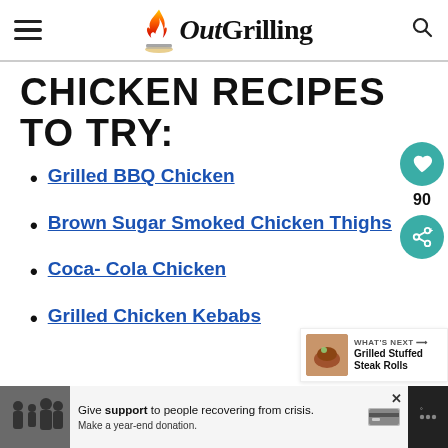Out Grilling
CHICKEN RECIPES TO TRY:
Grilled BBQ Chicken
Brown Sugar Smoked Chicken Thighs
Coca- Cola Chicken
Grilled Chicken Kebabs
WHAT'S NEXT → Grilled Stuffed Steak Rolls
90
Give support to people recovering from crisis. Make a year-end donation.